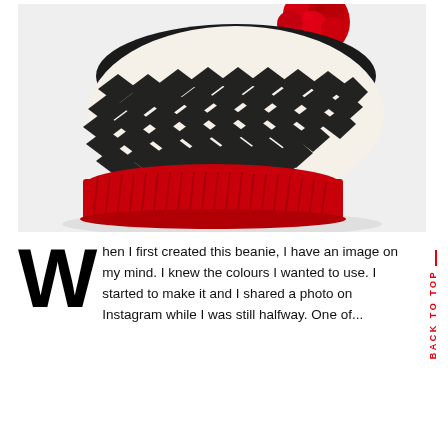[Figure (photo): A black and white herringbone/chevron pattern knitted beanie hat with a red ribbed brim band and a large red pompom on top, photographed on a white background.]
When I first created this beanie, I have an image on my mind. I knew the colours I wanted to use. I started to make it and I shared a photo on Instagram while I was still halfway. One of...